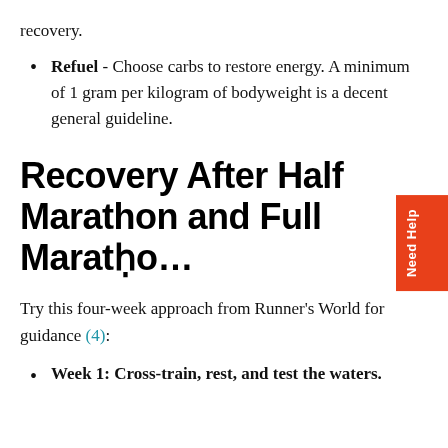recovery.
Refuel - Choose carbs to restore energy. A minimum of 1 gram per kilogram of bodyweight is a decent general guideline.
Recovery After Half Marathon and Full Marathon...
Try this four-week approach from Runner's World for guidance (4):
Week 1: Cross-train, rest, and test the waters.